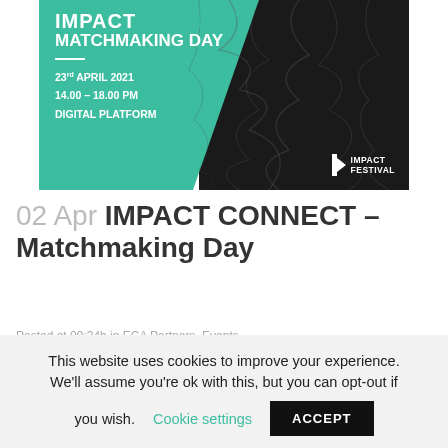[Figure (illustration): Impact Connect Matchmaking Day event banner with teal and dark background, showing event date 23rd April 2021, 14.00-18.00 PM, Digital Platform, with Impact Festival logo]
02 Apr IMPACT CONNECT – Matchmaking Day
Posted at 09:34h in ECA Partners, Events, Green Tech by Emma Neige
This website uses cookies to improve your experience. We'll assume you're ok with this, but you can opt-out if you wish. Cookie settings ACCEPT